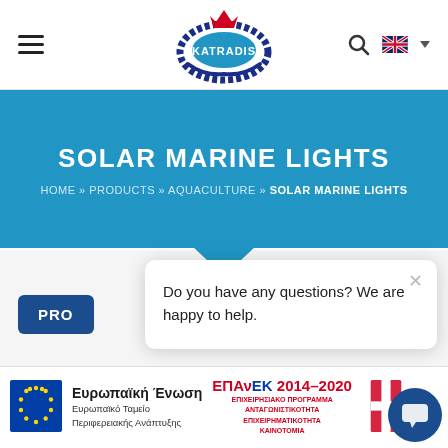[Figure (logo): Katradis marine ropes logo with anchor rope circle and crown, white text KATRADIS on blue oval]
SOLAR MARINE LIGHTS
HOME » PRODUCTS » AQUACULTURE » SOLAR MARINE LIGHTS
PRO
Do you have any questions? We are happy to help.
[Figure (logo): EU flag - blue background with circle of yellow stars]
Ευρωπαϊκή Ένωση
Ευρωπαϊκό Ταμείο
Περιφερειακής Ανάπτυξης
ΕΠΑνΕΚ 2014–2020
ΕΠΙΧΕΙΡΗΣΙΑΚΟ ΠΡΟΓΡΑΜΜΑ
ΑΝΤΑΓΩΝΙΣΤΙΚΟΤΗΤΑ
ΕΠΙΧΕΙΡΗΜΑΤΙΚΟΤΗΤΑ
ΚΑΙΝΟΤΟΜΙΑ